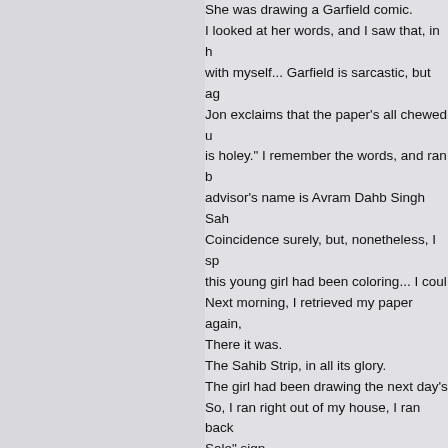She was drawing a Garfield comic. I looked at her words, and I saw that, in her words, I agreed with myself... Garfield is sarcastic, but agreeable. So when Jon exclaims that the paper's all chewed up, he says "well, it is holey." I remember the words, and ran back home. My advisor's name is Avram Dahb Singh Sahib. Coincidence surely, but, nonetheless, I spent time with this young girl had been coloring... I could not believe it. Next morning, I retrieved my paper again, There it was. The Sahib Strip, in all its glory. The girl had been drawing the next day's comic. So, I ran right out of my house, I ran back, and saw a "For Sale" sign. They'd moved out. I rushed back to my house to call Avram, and got connected for me. It was meant to be. It w... it was meant to be. It move to the forefront, and everything else all existed to show me the way, and when Everything else melted away. It was a beautiful miracle... and if July 27th, 12th, 1983, was the second day of my life I've never looked back. Garfield has trans When I was in my mid-thirties, I was inter had cats my whole life; I have three cats n into it, and again, I had been gaining trai